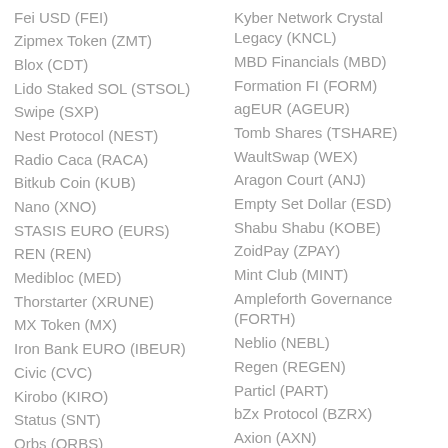Fei USD (FEI)
Zipmex Token (ZMT)
Blox (CDT)
Lido Staked SOL (STSOL)
Swipe (SXP)
Nest Protocol (NEST)
Radio Caca (RACA)
Bitkub Coin (KUB)
Nano (XNO)
STASIS EURO (EURS)
REN (REN)
Medibloc (MED)
Thorstarter (XRUNE)
MX Token (MX)
Iron Bank EURO (IBEUR)
Civic (CVC)
Kirobo (KIRO)
Status (SNT)
Orbs (ORBS)
Kyber Network Crystal Legacy (KNCL)
MBD Financials (MBD)
Formation FI (FORM)
agEUR (AGEUR)
Tomb Shares (TSHARE)
WaultSwap (WEX)
Aragon Court (ANJ)
Empty Set Dollar (ESD)
Shabu Shabu (KOBE)
ZoidPay (ZPAY)
Mint Club (MINT)
Ampleforth Governance (FORTH)
Neblio (NEBL)
Regen (REGEN)
Particl (PART)
bZx Protocol (BZRX)
Axion (AXN)